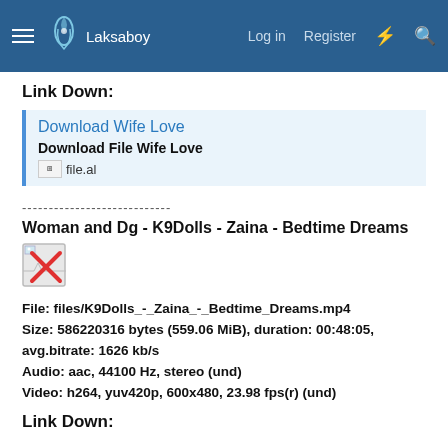Laksaboy  Log in  Register
Link Down:
Download Wife Love
Download File Wife Love
file.al  file.al
----------------------------
Woman and Dg - K9Dolls - Zaina - Bedtime Dreams
[Figure (illustration): Broken image icon with red X]
File: files/K9Dolls_-_Zaina_-_Bedtime_Dreams.mp4
Size: 586220316 bytes (559.06 MiB), duration: 00:48:05, avg.bitrate: 1626 kb/s
Audio: aac, 44100 Hz, stereo (und)
Video: h264, yuv420p, 600x480, 23.98 fps(r) (und)
Link Down: